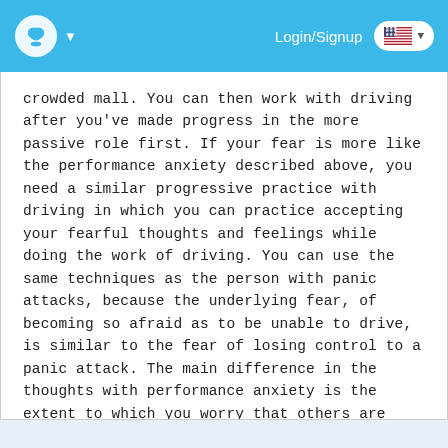Login/Signup
crowded mall. You can then work with driving after you've made progress in the more passive role first. If your fear is more like the performance anxiety described above, you need a similar progressive practice with driving in which you can practice accepting your fearful thoughts and feelings while doing the work of driving. You can use the same techniques as the person with panic attacks, because the underlying fear, of becoming so afraid as to be unable to drive, is similar to the fear of losing control to a panic attack. The main difference in the thoughts with performance anxiety is the extent to which you worry that others are watching, and judging, you.